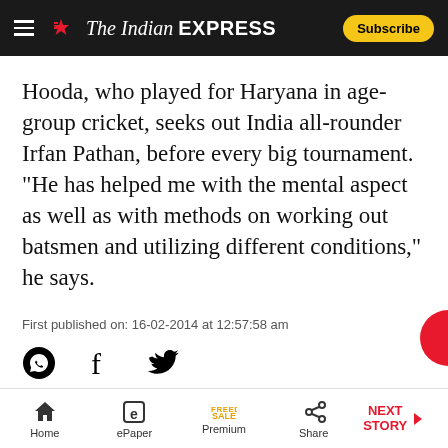The Indian EXPRESS — Subscribe
Hooda, who played for Haryana in age-group cricket, seeks out India all-rounder Irfan Pathan, before every big tournament. “He has helped me with the mental aspect as well as with methods on working out batsmen and utilizing different conditions,” he says.
First published on: 16-02-2014 at 12:57:58 am
Next Story
‘Any compromise to cling to power is corruption’
Tags:
Home | ePaper | Premium (FREEDOM SALE) | Share | NEXT STORY